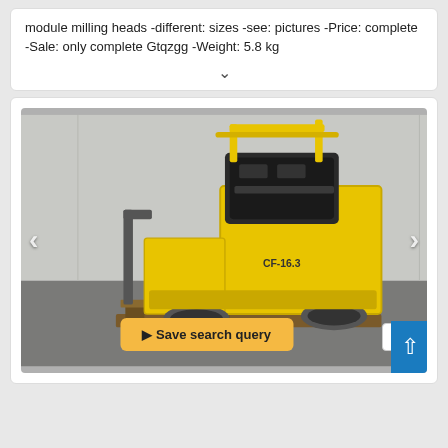module milling heads -different: sizes -see: pictures -Price: complete -Sale: only complete Gtqzgg -Weight: 5.8 kg
[Figure (photo): Yellow industrial floor milling/scarifying machine (model CF-16.3 or similar) with black diesel engine on top, sitting on a wooden pallet inside a warehouse. Navigation arrows visible on left and right sides of image.]